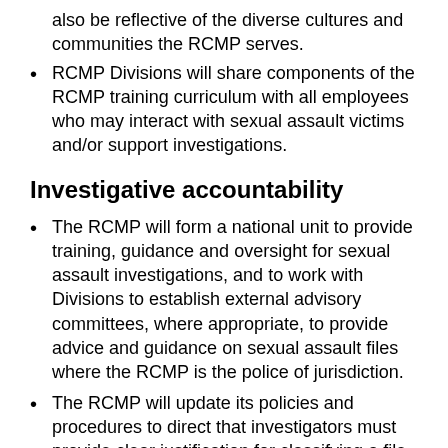also be reflective of the diverse cultures and communities the RCMP serves.
RCMP Divisions will share components of the RCMP training curriculum with all employees who may interact with sexual assault victims and/or support investigations.
Investigative accountability
The RCMP will form a national unit to provide training, guidance and oversight for sexual assault investigations, and to work with Divisions to establish external advisory committees, where appropriate, to provide advice and guidance on sexual assault files where the RCMP is the police of jurisdiction.
The RCMP will update its policies and procedures to direct that investigators must provide clear justification for classifying a file as unfounded, and the classification must be approved by the immediate supervisor.